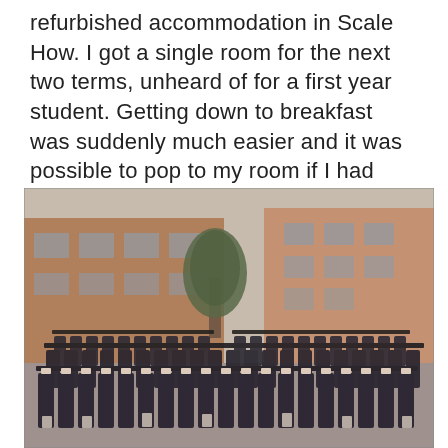refurbished accommodation in Scale How. I got a single room for the next two terms, unheard of for a first year student. Getting down to breakfast was suddenly much easier and it was possible to pop to my room if I had forgotten something.
[Figure (photo): A vintage photograph of a large group of university graduates in academic gowns and mortarboard caps posing in front of a brick university building. The group appears to be approximately 60-80 students arranged in several rows.]